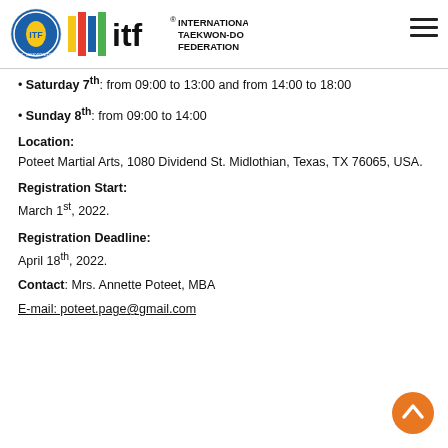[Figure (logo): International Taekwon-Do Federation logo with circular emblem and colored bars beside ITF text and full name]
Saturday 7th: from 09:00 to 13:00 and from 14:00 to 18:00
Sunday 8th: from 09:00 to 14:00
Location:
Poteet Martial Arts, 1080 Dividend St. Midlothian, Texas, TX 76065, USA.
Registration Start:
March 1st, 2022.
Registration Deadline:
April 18th, 2022.
Contact: Mrs. Annette Poteet, MBA
E-mail: poteet.page@gmail.com